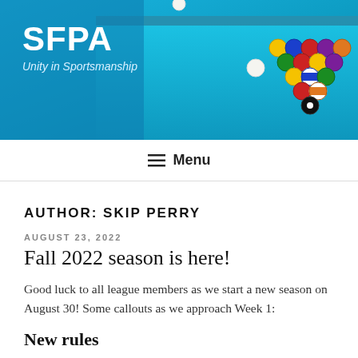[Figure (photo): Website header banner showing a billiards/pool table with colorful pool balls racked in a triangle, with a cyan/blue pool table surface. White text overlay shows site name SFPA and tagline.]
SFPA
Unity in Sportsmanship
☰ Menu
AUTHOR: SKIP PERRY
AUGUST 23, 2022
Fall 2022 season is here!
Good luck to all league members as we start a new season on August 30! Some callouts as we approach Week 1:
New rules